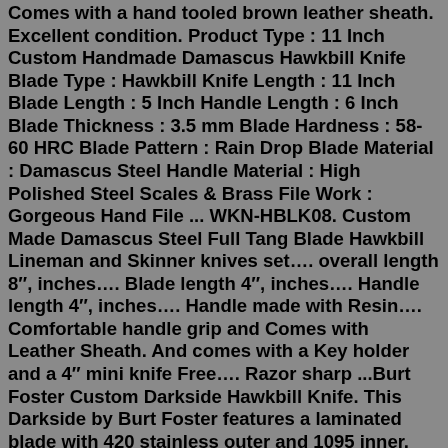Comes with a hand tooled brown leather sheath. Excellent condition. Product Type : 11 Inch Custom Handmade Damascus Hawkbill Knife Blade Type : Hawkbill Knife Length : 11 Inch Blade Length : 5 Inch Handle Length : 6 Inch Blade Thickness : 3.5 mm Blade Hardness : 58-60 HRC Blade Pattern : Rain Drop Blade Material : Damascus Steel Handle Material : High Polished Steel Scales & Brass File Work : Gorgeous Hand File ... WKN-HBLK08. Custom Made Damascus Steel Full Tang Blade Hawkbill Lineman and Skinner knives set…. overall length 8″, inches…. Blade length 4″, inches…. Handle length 4″, inches…. Handle made with Resin…. Comfortable handle grip and Comes with Leather Sheath. And comes with a Key holder and a 4″ mini knife Free…. Razor sharp ...Burt Foster Custom Darkside Hawkbill Knife. This Darkside by Burt Foster features a laminated blade with 420 stainless outer and 1095 inner, .150" blade stock and .884" blade depth, full tang construction. Comes with a black leather covered kydex sheath with belt loop. No